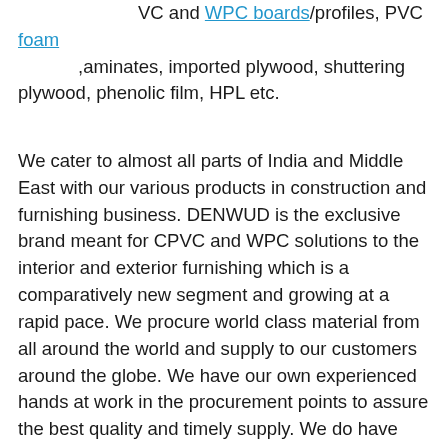VC and WPC boards/profiles, PVC foam …aminates, imported plywood, shuttering plywood, phenolic film, HPL etc.
We cater to almost all parts of India and Middle East with our various products in construction and furnishing business. DENWUD is the exclusive brand meant for CPVC and WPC solutions to the interior and exterior furnishing which is a comparatively new segment and growing at a rapid pace. We procure world class material from all around the world and supply to our customers around the globe. We have our own experienced hands at work in the procurement points to assure the best quality and timely supply. We do have one more economic variant available in PVC boards in the name SMARTWUD which deliver value for money to the end users.